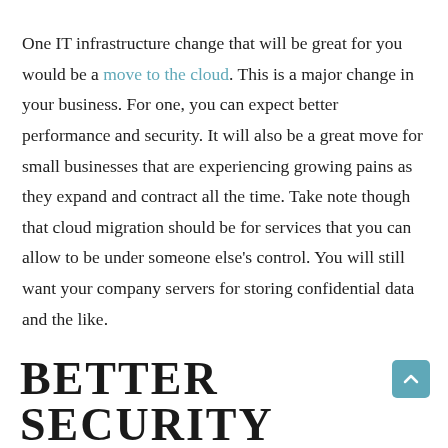One IT infrastructure change that will be great for you would be a move to the cloud. This is a major change in your business. For one, you can expect better performance and security. It will also be a great move for small businesses that are experiencing growing pains as they expand and contract all the time. Take note though that cloud migration should be for services that you can allow to be under someone else's control. You will still want your company servers for storing confidential data and the like.
BETTER SECURITY